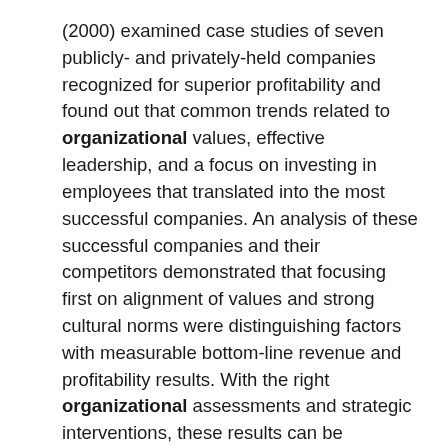(2000) examined case studies of seven publicly- and privately-held companies recognized for superior profitability and found out that common trends related to organizational values, effective leadership, and a focus on investing in employees that translated into the most successful companies. An analysis of these successful companies and their competitors demonstrated that focusing first on alignment of values and strong cultural norms were distinguishing factors with measurable bottom-line revenue and profitability results. With the right organizational assessments and strategic interventions, these results can be translated to the nonprofit and government sectors in terms of productivity, higher morale, recognition, and financial/budgetary support.
Additionally, leadership in an organization plays an important role in the success of the organization